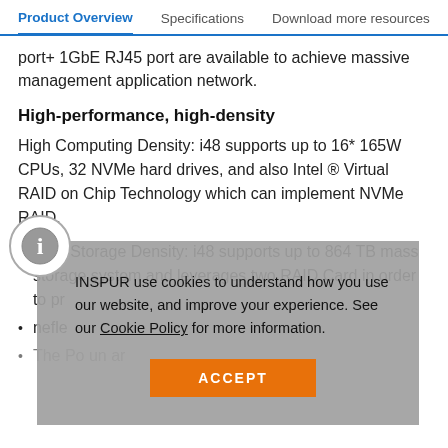Product Overview | Specifications | Download more resources
port+ 1GbE RJ45 port are available to achieve massive management application network.
High-performance, high-density
High Computing Density: i48 supports up to 16* 165W CPUs, 32 NVMe hard drives, and also Intel ® Virtual RAID on Chip Technology which can implement NVMe RAID.
High Storage Density: i48 supports up to 864 TB mass storage system and leverages two RAID Card in order to pr...
ne... fle...
The Po... un... ar...
INSPUR use cookies to understand how you use our website, and improve your experience. See our Cookie Policy for more information.